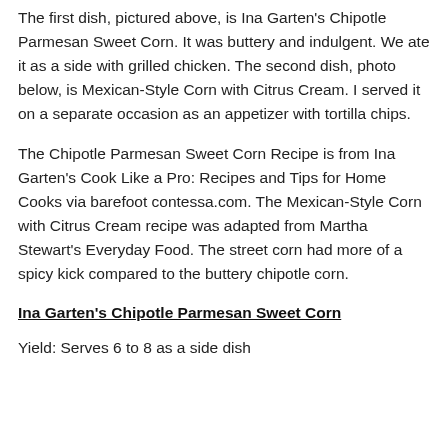The first dish, pictured above, is Ina Garten's Chipotle Parmesan Sweet Corn. It was buttery and indulgent. We ate it as a side with grilled chicken. The second dish, photo below, is Mexican-Style Corn with Citrus Cream. I served it on a separate occasion as an appetizer with tortilla chips.
The Chipotle Parmesan Sweet Corn Recipe is from Ina Garten's Cook Like a Pro: Recipes and Tips for Home Cooks via barefoot contessa.com. The Mexican-Style Corn with Citrus Cream recipe was adapted from Martha Stewart's Everyday Food. The street corn had more of a spicy kick compared to the buttery chipotle corn.
Ina Garten's Chipotle Parmesan Sweet Corn
Yield: Serves 6 to 8 as a side dish